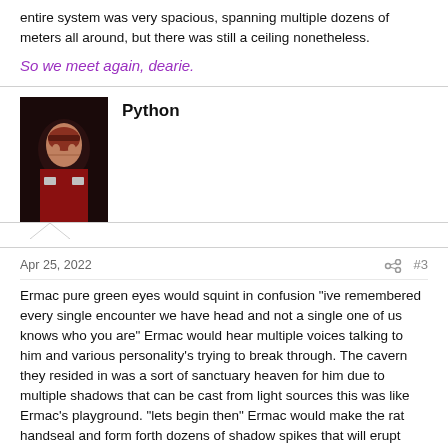entire system was very spacious, spanning multiple dozens of meters all around, but there was still a ceiling nonetheless.
So we meet again, dearie.
Python
Apr 25, 2022
#3
Ermac pure green eyes would squint in confusion "ive remembered every single encounter we have head and not a single one of us knows who you are" Ermac would hear multiple voices talking to him and various personality's trying to break through. The cavern they resided in was a sort of sanctuary heaven for him due to multiple shadows that can be cast from light sources this was like Ermac's playground. "lets begin then" Ermac would make the rat handseal and form forth dozens of shadow spikes that will erupt from the ground. These spikes will travel rapidly in a straight line ahead, growing in number until they reach Tia and pierce her through